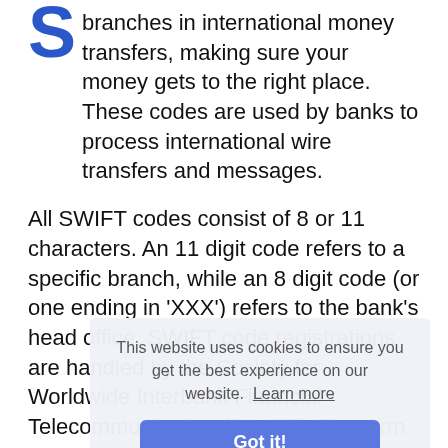S branches in international money transfers, making sure your money gets to the right place. These codes are used by banks to process international wire transfers and messages.
All SWIFT codes consist of 8 or 11 characters. An 11 digit code refers to a specific branch, while an 8 digit code (or one ending in 'XXX') refers to the bank's head office. SWIFT code registrations are handled by the Society for Worldwide Interbank Financial Telecommunication (SWIFT). The term SWIFT is often used interchangeably with BIC, which stands for Bank Identifier Code.
The SWIFT code tool is provided for informational purposes only. Whilst every effort is made to provide accurate data, users must acknowledge that this website accepts no liability whatsoever with respect to its accuracy. Only your bank can
This website uses cookies to ensure you get the best experience on our website.  Learn more
Got it!